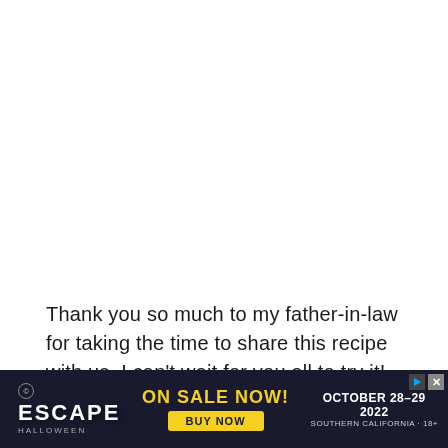Thank you so much to my father-in-law for taking the time to share this recipe with us. I can't wait for you all to try it!
Have a wonderful weekend friends and as always, thank you so much for your sweet comments, emails and m... ...hare your f... ...eek
[Figure (other): Advertisement banner for Escape Halloween event. Dark background with 'ON SALE NOW!' in yellow, 'BUY NOW' button, 'OCTOBER 28-29 2022 SOUTHERN CALIFORNIA - 18+' text, and 'ESCAPE HALLOWEEN' logo on the left.]